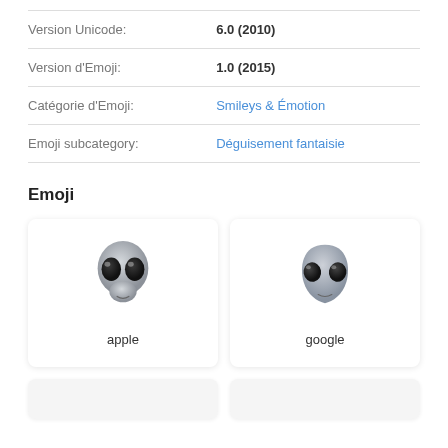| Version Unicode: | 6.0 (2010) |
| Version d'Emoji: | 1.0 (2015) |
| Catégorie d'Emoji: | Smileys & Émotion |
| Emoji subcategory: | Déguisement fantaisie |
Emoji
[Figure (illustration): Apple alien emoji - grey alien face with large black eyes and small smile]
apple
[Figure (illustration): Google alien emoji - grey alien face with large black almond eyes and small smile]
google